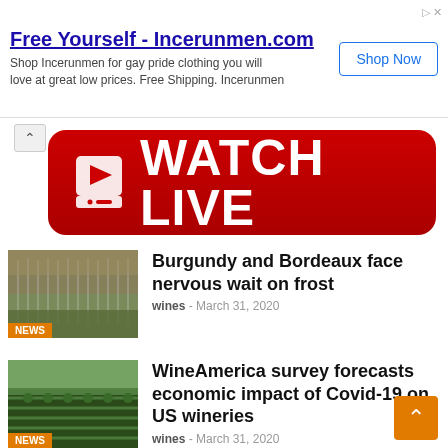[Figure (screenshot): Advertisement banner for Incerunmen.com with title 'Free Yourself - Incerunmen.com', description text, and Shop Now button]
[Figure (infographic): Red Watch Live streaming button banner with play icon]
[Figure (photo): Thumbnail image of vineyard with frost nets, NEWS badge overlay]
Burgundy and Bordeaux face nervous wait on frost
wines - March 31, 2020
[Figure (photo): Thumbnail image of vineyard rows, NEWS badge overlay]
WineAmerica survey forecasts economic impact of Covid-19 on US wineries
wines - March 31, 2020